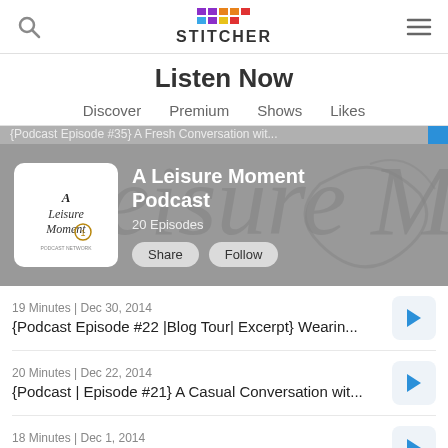Stitcher - Listen Now
Listen Now
Discover   Premium   Shows   Likes
[Figure (screenshot): A Leisure Moment Podcast banner with logo, 20 Episodes, Share and Follow buttons on grey background]
19 Minutes | Dec 30, 2014
{Podcast Episode #22 |Blog Tour| Excerpt} Wearin...
20 Minutes | Dec 22, 2014
{Podcast | Episode #21} A Casual Conversation wit...
18 Minutes | Dec 1, 2014
{Podcast|Episode #20} A Casual Conversation wit...